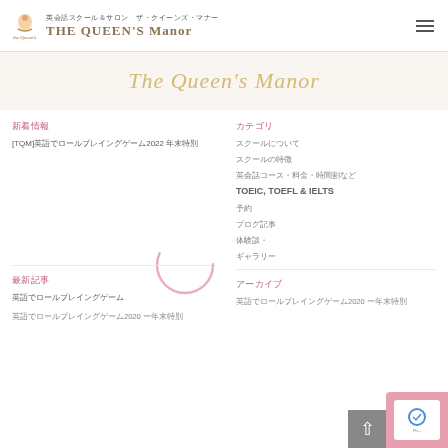英会話スクール＆サロン　ザ・クイーンズ・マナー THE QUEEN'S Manor
[Figure (illustration): Decorative banner with stylized cursive text in golden/olive color]
新着情報
カテゴリ
[TQM]英語でロールプレイングゲーム2022 年末特別
スクールについて
スクールの特徴
英会話コース・料金・時間割など
TOEIC, TOEFL & IELTS
予約
ブログ記事
体験談・
ギャラリー
最新記事
アーカイブ
英語でロールプレイングゲーム
英語でロールプレイングゲーム2020 ー年末特別